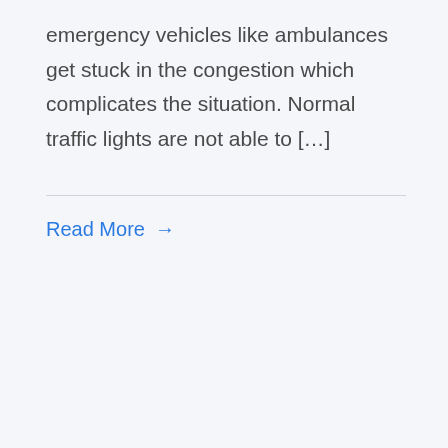emergency vehicles like ambulances get stuck in the congestion which complicates the situation. Normal traffic lights are not able to […]
Read More →